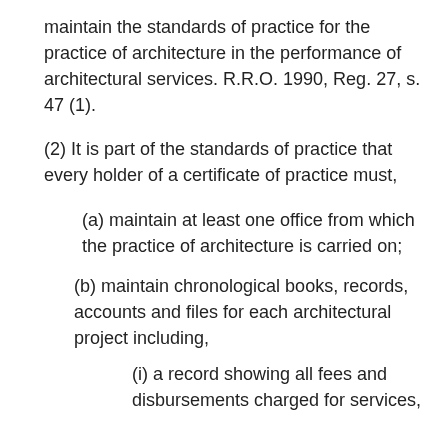maintain the standards of practice for the practice of architecture in the performance of architectural services. R.R.O. 1990, Reg. 27, s. 47 (1).
(2) It is part of the standards of practice that every holder of a certificate of practice must,
(a) maintain at least one office from which the practice of architecture is carried on;
(b) maintain chronological books, records, accounts and files for each architectural project including,
(i) a record showing all fees and disbursements charged for services,